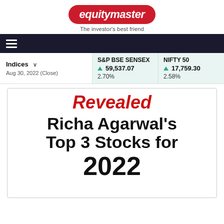equitymaster — The investor's best friend
[Figure (logo): Equitymaster logo — red rounded badge with white italic bold text 'equitymaster', tagline 'The investor's best friend' below]
| Indices | S&P BSE SENSEX | NIFTY 50 |
| --- | --- | --- |
| Aug 30, 2022 (Close) | ▲ 59,537.07 / 2.70% | ▲ 17,759.30 / 2.58% |
Revealed Richa Agarwal's Top 3 Stocks for 2022